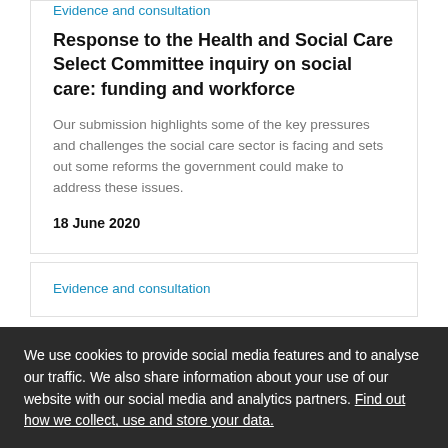Evidence and consultation
Response to the Health and Social Care Select Committee inquiry on social care: funding and workforce
Our submission highlights some of the key pressures and challenges the social care sector is facing and sets out some reforms the government could make to address these issues.
18 June 2020
Evidence and consultation
We use cookies to provide social media features and to analyse our traffic. We also share information about your use of our website with our social media and analytics partners. Find out how we collect, use and store your data.